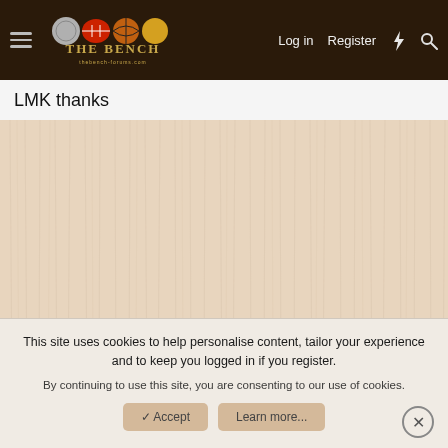[Figure (screenshot): Website header for 'The Bench' sports forum with dark brown background, hamburger menu, logo with sports balls, and navigation links: Log in, Register, lightning bolt icon, search icon]
LMK thanks
[Figure (photo): Light wood grain texture background image, pale beige/cream colored wood with vertical grain lines]
This site uses cookies to help personalise content, tailor your experience and to keep you logged in if you register.
By continuing to use this site, you are consenting to our use of cookies.
Accept
Learn more...